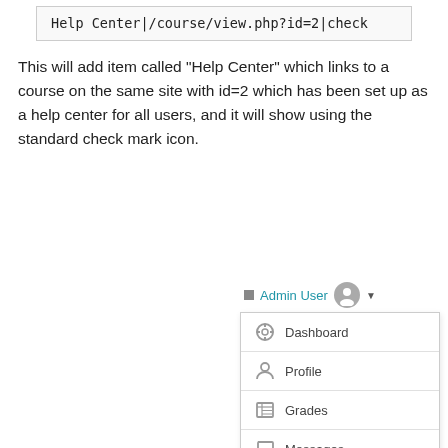Help Center|/course/view.php?id=2|check
This will add item called "Help Center" which links to a course on the same site with id=2 which has been set up as a help center for all users, and it will show using the standard check mark icon.
[Figure (screenshot): A dropdown menu showing: Admin User with avatar and dropdown arrow, with menu items: Dashboard, Profile, Grades, Messages, Preferences, Log out, Switch role to...]